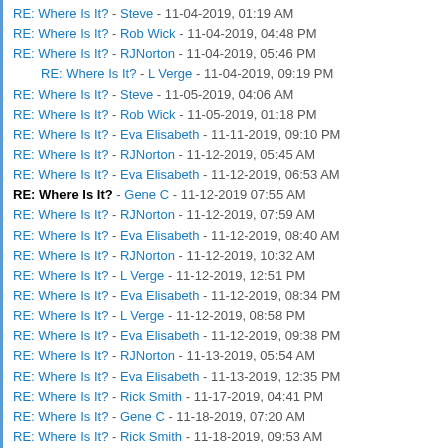RE: Where Is It? - Steve - 11-04-2019, 01:19 AM
RE: Where Is It? - Rob Wick - 11-04-2019, 04:48 PM
RE: Where Is It? - RJNorton - 11-04-2019, 05:46 PM
RE: Where Is It? - L Verge - 11-04-2019, 09:19 PM
RE: Where Is It? - Steve - 11-05-2019, 04:06 AM
RE: Where Is It? - Rob Wick - 11-05-2019, 01:18 PM
RE: Where Is It? - Eva Elisabeth - 11-11-2019, 09:10 PM
RE: Where Is It? - RJNorton - 11-12-2019, 05:45 AM
RE: Where Is It? - Eva Elisabeth - 11-12-2019, 06:53 AM
RE: Where Is It? - Gene C - 11-12-2019 07:55 AM
RE: Where Is It? - RJNorton - 11-12-2019, 07:59 AM
RE: Where Is It? - Eva Elisabeth - 11-12-2019, 08:40 AM
RE: Where Is It? - RJNorton - 11-12-2019, 10:32 AM
RE: Where Is It? - L Verge - 11-12-2019, 12:51 PM
RE: Where Is It? - Eva Elisabeth - 11-12-2019, 08:34 PM
RE: Where Is It? - L Verge - 11-12-2019, 08:58 PM
RE: Where Is It? - Eva Elisabeth - 11-12-2019, 09:38 PM
RE: Where Is It? - RJNorton - 11-13-2019, 05:54 AM
RE: Where Is It? - Eva Elisabeth - 11-13-2019, 12:35 PM
RE: Where Is It? - Rick Smith - 11-17-2019, 04:41 PM
RE: Where Is It? - Gene C - 11-18-2019, 07:20 AM
RE: Where Is It? - Rick Smith - 11-18-2019, 09:53 AM
RE: Where Is It? - Anita - 11-18-2019, 02:06 PM
RE: Where Is It? - Rick Smith - 11-18-2019, 03:24 PM
RE: Where Is It? - Anita - 11-18-2019, 11:34 PM